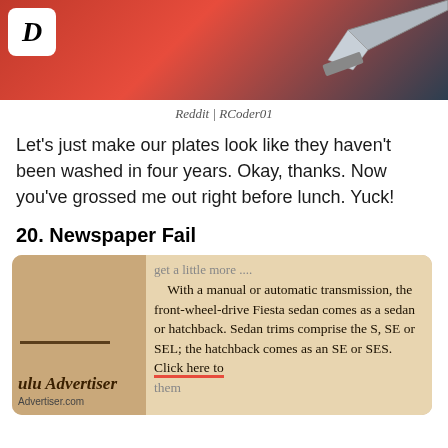[Figure (photo): Top banner photo showing a knife against red and dark background, with a white rounded square D logo in the top-left corner]
Reddit | RCoder01
Let's just make our plates look like they haven't been washed in four years. Okay, thanks. Now you've grossed me out right before lunch. Yuck!
20. Newspaper Fail
[Figure (photo): Photo of a newspaper clipping showing text about a Ford Fiesta sedan with a 'Click here to' hyperlink underlined in red, alongside partial text of 'Honolulu Advertiser' and 'Advertiser.com']